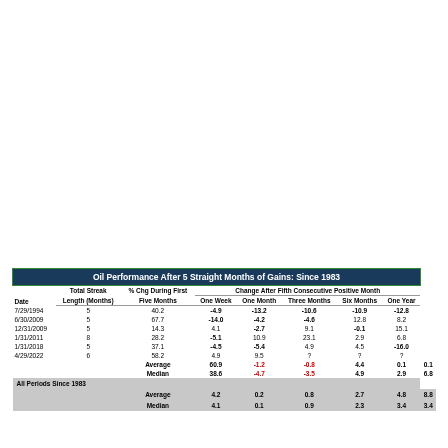| Date | Total Streak Length (Months) | % Chg During First Five Months | One Week | One Month | Three Months | Six Months | One Year |
| --- | --- | --- | --- | --- | --- | --- | --- |
| 7/29/1994 | 5 | 40.2 | -4.9 | -13.2 | -10.6 | -10.9 | -12.8 |
| 6/30/2009 | 5 | 67.7 | -14.0 | -4.2 | -4.6 | 12.8 | 8.2 |
| 12/31/2009 | 5 | 14.3 | 4.1 | -2.7 | 9.1 | -0.1 | 15.1 |
| 1/31/2011 | 8 | 28.2 | -5.1 | 10.9 | 23.1 | 2.9 | 6.8 |
| 1/31/2018 | 5 | 37.1 | -4.5 | -5.4 | 4.9 | 4.5 | -16.0 |
| 4/29/2022 | 6 | 58.2 | 4.9 | 9.5 | ? | ? | ? |
| Average |  | 60.9 | -1.2 | -0.8 | 4.4 | 0.1 | 0.1 |
| Median |  | 38.6 | -4.7 | -3.5 | 4.9 | 2.9 | 6.8 |
| All Periods Since 1983 Average |  | 4.2 | 0.2 | 0.8 | 2.7 | 4.8 | 8.8 |
| All Periods Since 1983 Median |  | 4.1 | 0.1 | 0.9 | 2.3 | 3.4 | 3.4 |